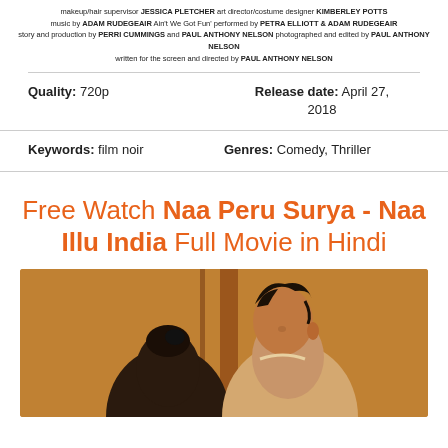makeup/hair supervisor JESSICA PLETCHER art director/costume designer KIMBERLEY POTTS music by ADAM RUDEGEAIR Ain't We Got Fun' performed by PETRA ELLIOTT & ADAM RUDEGEAIR story and production by PERRI CUMMINGS and PAUL ANTHONY NELSON photographed and edited by PAUL ANTHONY NELSON written for the screen and directed by PAUL ANTHONY NELSON
| Quality: 720p | Release date: April 27, 2018 |
| Keywords: film noir | Genres: Comedy, Thriller |
Free Watch Naa Peru Surya - Naa Illu India Full Movie in Hindi
[Figure (photo): Two people (a couple) photographed together, partially visible from shoulders up. Warm background tones of orange/brown.]